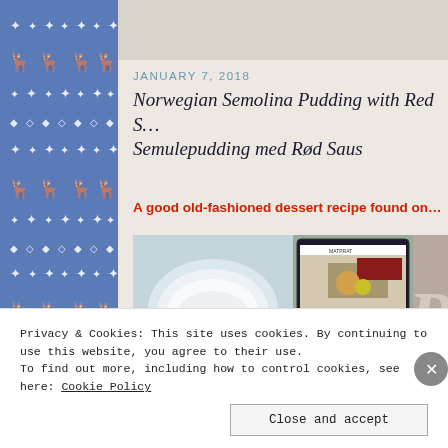[Figure (illustration): Blue Nordic/Scandinavian decorative pattern sidebar with reindeer and snowflake motifs on blue background]
JANUARY 7, 2018
Norwegian Semolina Pudding with Red S… Semulepudding med Rød Saus
A good old-fashioned dessert recipe found on…
[Figure (photo): Left: close-up of a white ceramic dish (semolina pudding). Center: screenshot of Matprat website showing fried food with lemon. Right: partial image with large letter R.]
Privacy & Cookies: This site uses cookies. By continuing to use this website, you agree to their use.
To find out more, including how to control cookies, see here: Cookie Policy
Close and accept